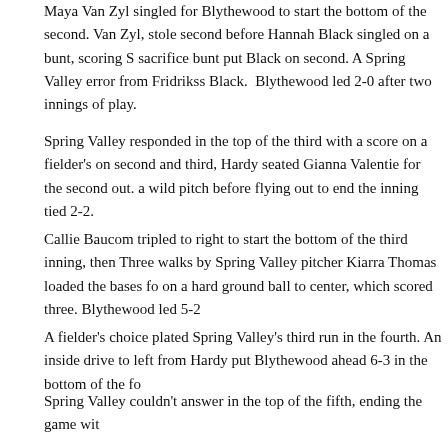Maya Van Zyl singled for Blythewood to start the bottom of the second. Van Zyl, stole second before Hannah Black singled on a bunt, scoring S sacrifice bunt put Black on second. A Spring Valley error from Fridriksson Black. Blythewood led 2-0 after two innings of play.
Spring Valley responded in the top of the third with a score on a fielder's on second and third, Hardy seated Gianna Valentie for the second out. a wild pitch before flying out to end the inning tied 2-2.
Callie Baucom tripled to right to start the bottom of the third inning, then Three walks by Spring Valley pitcher Kiarra Thomas loaded the bases fo on a hard ground ball to center, which scored three. Blythewood led 5-2
A fielder's choice plated Spring Valley's third run in the fourth. An inside drive to left from Hardy put Blythewood ahead 6-3 in the bottom of the fo
Spring Valley couldn't answer in the top of the fifth, ending the game wit
Hardy threw a no-hitter, picking up the win with five innings of work. She struck out five. Swanier went 2-3 at the plate.
On Spring Break this week, Blythewood (8-2) will return to action next w against Rock Hill and Friday night game at Spring Valley.